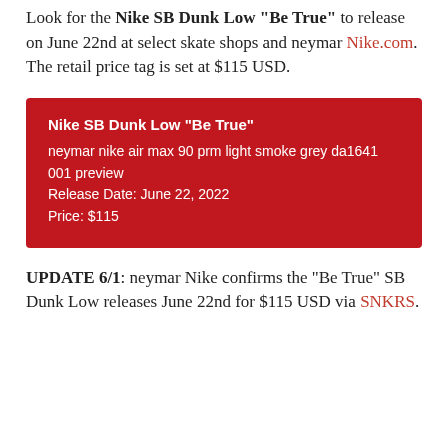Look for the Nike SB Dunk Low "Be True" to release on June 22nd at select skate shops and neymar Nike.com. The retail price tag is set at $115 USD.
| Nike SB Dunk Low “Be True” |
| neymar nike air max 90 prm light smoke grey da1641 001 preview |
| Release Date: June 22, 2022 |
| Price: $115 |
UPDATE 6/1: neymar Nike confirms the “Be True” SB Dunk Low releases June 22nd for $115 USD via SNKRS.